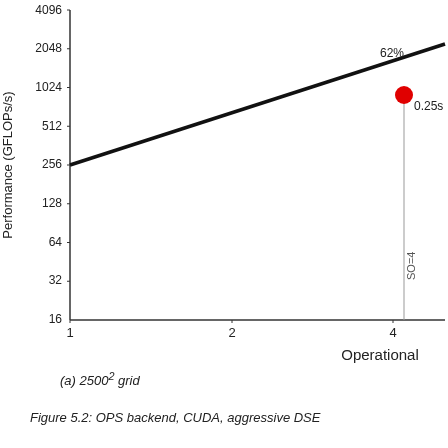[Figure (continuous-plot): Log-log roofline plot with x-axis 'Operational' (values 1, 2, 4+) and y-axis 'Performance (GFLOPs/s)' (log scale: 16, 32, 64, 128, 256, 512, 1024, 2048, 4096). A diagonal black line goes from lower-left to upper-right representing the roofline. A red dot is plotted at approximately x=4.2, y=900, annotated with '0.25s'. A vertical gray line at x~4.2 is labeled 'SO=4'. Near the top right the line is annotated '62%'.]
(a) 2500² grid
Figure 5.2: OPS backend, CUDA, aggressive DSE